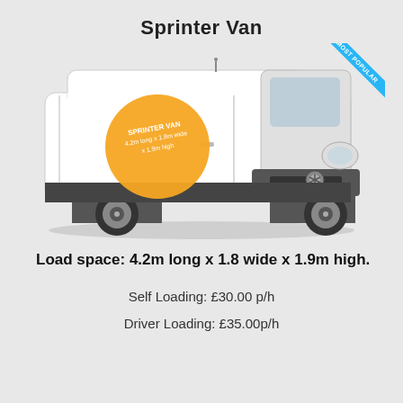Sprinter Van
[Figure (photo): White Mercedes Sprinter Van with an orange circle on the side showing 'SPRINTER VAN 4.2m long x 1.8m wide x 1.9m high' and a 'MOST POPULAR' blue ribbon in the top right corner.]
Load space: 4.2m long x 1.8 wide x 1.9m high.
Self Loading: £30.00 p/h
Driver Loading: £35.00p/h